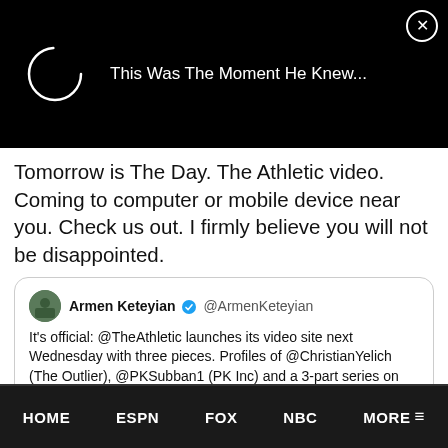[Figure (screenshot): Video ad banner with loading spinner circle on black background and text 'This Was The Moment He Knew...' with a close button]
Tomorrow is The Day. The Athletic video. Coming to computer or mobile device near you. Check us out. I firmly believe you will not be disappointed.
Armen Keteyian @ArmenKeteyian
It's official: @TheAthletic launches its video site next Wednesday with three pieces. Profiles of @ChristianYelich (The Outlier), @PKSubban1 (PK Inc) and a 3-part series on sports betting (Big Bets on High Tech). I'll be your tour guide. Hope you'll come along for the ride.
HOME  ESPN  FOX  NBC  MORE